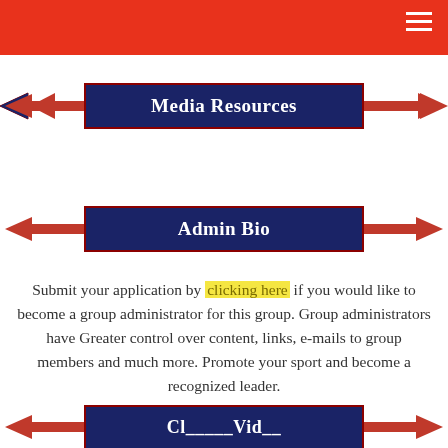[Figure (infographic): Arrow banner with dark navy blue rectangle labeled 'Media Resources' with red arrows pointing left and right on each side]
[Figure (infographic): Arrow banner with dark navy blue rectangle labeled 'Admin Bio' with red arrows pointing left and right on each side]
Submit your application by clicking here if you would like to become a group administrator for this group. Group administrators have Greater control over content, links, e-mails to group members and much more. Promote your sport and become a recognized leader.
[Figure (infographic): Partial arrow banner at bottom with dark navy blue rectangle (text partially cut off) with red arrows on sides]